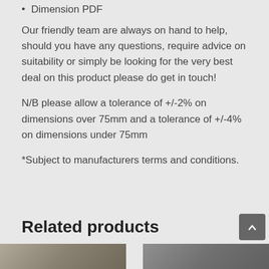Dimension PDF
Our friendly team are always on hand to help, should you have any questions, require advice on suitability or simply be looking for the very best deal on this product please do get in touch!
N/B please allow a tolerance of +/-2% on dimensions over 75mm and a tolerance of +/-4% on dimensions under 75mm
*Subject to manufacturers terms and conditions.
Related products
[Figure (photo): Two product thumbnail images side by side at the bottom of the page]